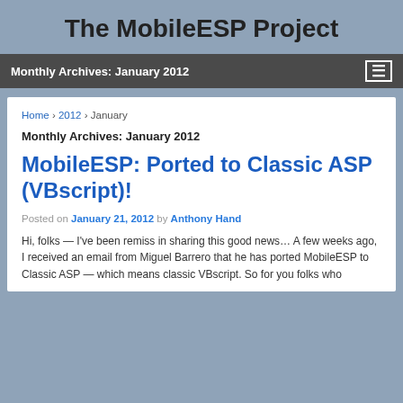The MobileESP Project
Monthly Archives: January 2012
Home › 2012 › January
Monthly Archives: January 2012
MobileESP: Ported to Classic ASP (VBscript)!
Posted on January 21, 2012 by Anthony Hand
Hi, folks — I've been remiss in sharing this good news… A few weeks ago, I received an email from Miguel Barrero that he has ported MobileESP to Classic ASP — which means classic VBscript. So for you folks who